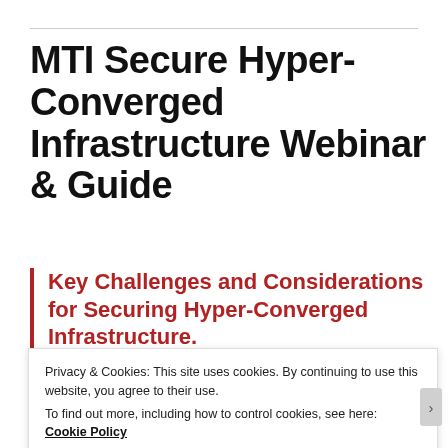MTI Secure Hyper-Converged Infrastructure Webinar & Guide
Key Challenges and Considerations for Securing Hyper-Converged Infrastructure.
[Figure (infographic): Three icons representing infrastructure concepts, separated by vertical lines, partially visible at the bottom of the page.]
Privacy & Cookies: This site uses cookies. By continuing to use this website, you agree to their use.
To find out more, including how to control cookies, see here: Cookie Policy
Close and accept